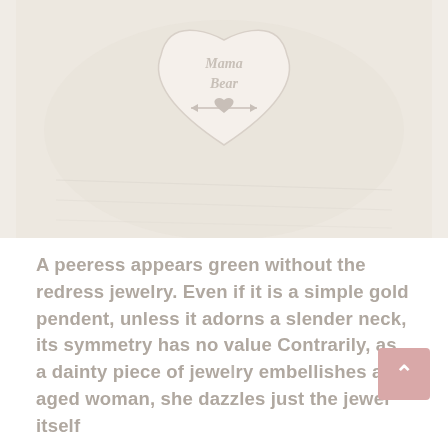[Figure (photo): A product photo showing a heart-shaped pendant or item with 'Mama Bear' text and a small heart-arrow design, on a light cream/beige background.]
A peeress appears green without the redress jewelry. Even if it is a simple gold pendent, unless it adorns a slender neck, its symmetry has no value Contrarily, as a dainty piece of jewelry embellishes an aged woman, she dazzles just the jewel itself